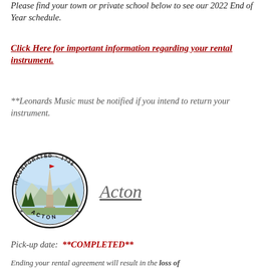Please find your town or private school below to see our 2022 End of Year schedule.
Click Here for important information regarding your rental instrument.
**Leonards Music must be notified if you intend to return your instrument.
[Figure (logo): Acton town seal: circular seal reading INCORPORATED 1735 with a monument/obelisk and mountains in the center, ACTON at the bottom]
Acton
Pick-up date:  **COMPLETED**
Ending your rental agreement will result in the loss of...